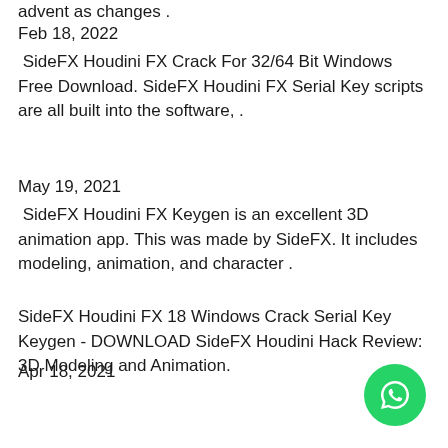advent as changes .
Feb 18, 2022
SideFX Houdini FX Crack For 32/64 Bit Windows Free Download. SideFX Houdini FX Serial Key scripts are all built into the software, .
May 19, 2021
SideFX Houdini FX Keygen is an excellent 3D animation app. This was made by SideFX. It includes modeling, animation, and character .
SideFX Houdini FX 18 Windows Crack Serial Key Keygen - DOWNLOAD SideFX Houdini Hack Review: 3D Modeling and Animation.
Apr 18, 2021
SideFX Houdini FX Keygen is an excellent 3D animation app. This was made by SideFX. It includes modeling, animation, and character
[Figure (other): Green circular WhatsApp button with chat icon in bottom right corner]